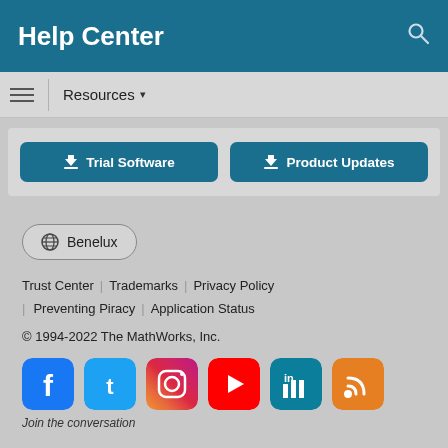Help Center
Resources ▾
Trial Software
Product Updates
🌐 Benelux
Trust Center | Trademarks | Privacy Policy | Preventing Piracy | Application Status
© 1994-2022 The MathWorks, Inc.
[Figure (infographic): Social media icons row: Facebook, Twitter, Instagram, YouTube, LinkedIn, RSS feed]
Join the conversation